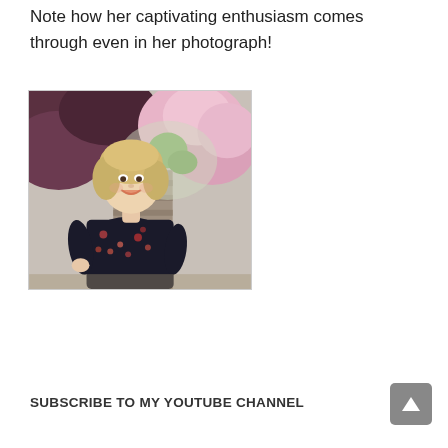Note how her captivating enthusiasm comes through even in her photograph!
[Figure (photo): A smiling blonde woman wearing a dark floral dress standing outdoors in front of pink flowering shrubs and stone wall]
SUBSCRIBE TO MY YOUTUBE CHANNEL